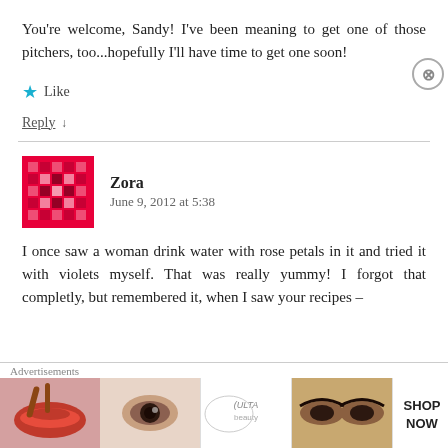You're welcome, Sandy! I've been meaning to get one of those pitchers, too...hopefully I'll have time to get one soon!
★ Like
Reply ↓
Zora
June 9, 2012 at 5:38
I once saw a woman drink water with rose petals in it and tried it with violets myself. That was really yummy! I forgot that completly, but remembered it, when I saw your recipes –
[Figure (screenshot): Ulta beauty advertisement banner with makeup images]
Advertisements